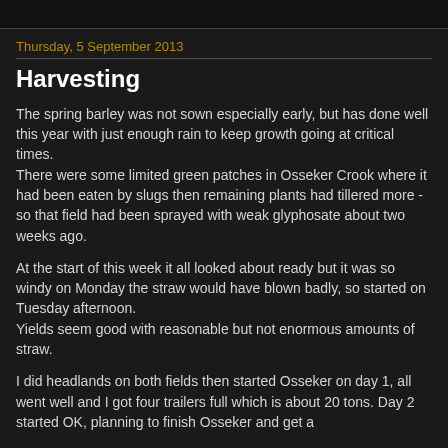Thursday, 5 September 2013
Harvesting
The spring barley was not sown especially early, but has done well this year with just enough rain to keep growth going at critical times.
There were some limited green patches in Osseker Crook where it had been eaten by slugs then remaining plants had tillered more - so that field had been sprayed with weak glyphosate about two weeks ago.
At the start of this week it all looked about ready but it was so windy on Monday the straw would have blown badly, so started on Tuesday afternoon.
Yields seem good with reasonable but not enormous amounts of straw.
I did headlands on both fields then started Osseker on day 1, all went well and I got four trailers full which is about 20 tons. Day 2 started OK, planning to finish Osseker and get a